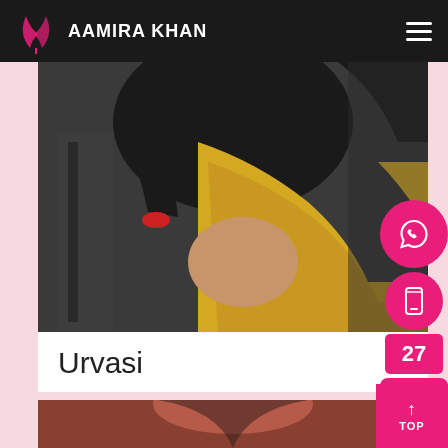AAMIRA KHAN
[Figure (photo): Woman wearing black blouse and yellow/pink saree, fashion photo]
[Figure (infographic): WhatsApp icon button (pink circle), phone icon button (pink circle), call label (pink rectangle), email/envelope icon button (pink rectangle) - social contact buttons on right side]
Urvasi
[Figure (photo): Partial photo of woman, cropped at bottom of page]
[Figure (infographic): TOP button with upward arrow in bottom right corner, pink background]